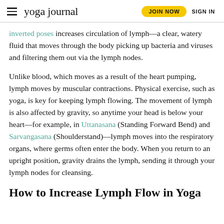yoga journal | JOIN NOW | SIGN IN
inverted poses increases circulation of lymph—a clear, watery fluid that moves through the body picking up bacteria and viruses and filtering them out via the lymph nodes.
Unlike blood, which moves as a result of the heart pumping, lymph moves by muscular contractions. Physical exercise, such as yoga, is key for keeping lymph flowing. The movement of lymph is also affected by gravity, so anytime your head is below your heart—for example, in Uttanasana (Standing Forward Bend) and Sarvangasana (Shoulderstand)—lymph moves into the respiratory organs, where germs often enter the body. When you return to an upright position, gravity drains the lymph, sending it through your lymph nodes for cleansing.
How to Increase Lymph Flow in Yoga